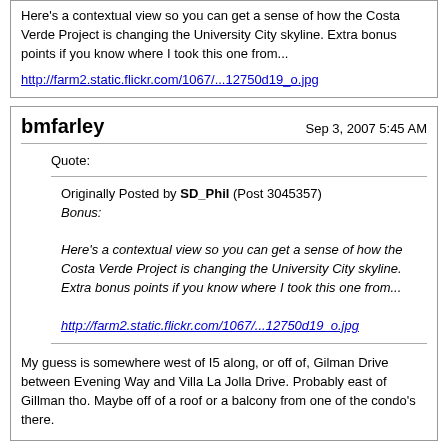Here's a contextual view so you can get a sense of how the Costa Verde Project is changing the University City skyline. Extra bonus points if you know where I took this one from...
http://farm2.static.flickr.com/1067/...12750d19_o.jpg
bmfarley
Sep 3, 2007 5:45 AM
Quote:
Originally Posted by SD_Phil (Post 3045357)
Bonus:
Here's a contextual view so you can get a sense of how the Costa Verde Project is changing the University City skyline. Extra bonus points if you know where I took this one from...
http://farm2.static.flickr.com/1067/...12750d19_o.jpg
My guess is somewhere west of I5 along, or off of, Gilman Drive between Evening Way and Villa La Jolla Drive. Probably east of Gillman tho. Maybe off of a roof or a balcony from one of the condo's there.
eburress
Sep 3, 2007 5:45 AM